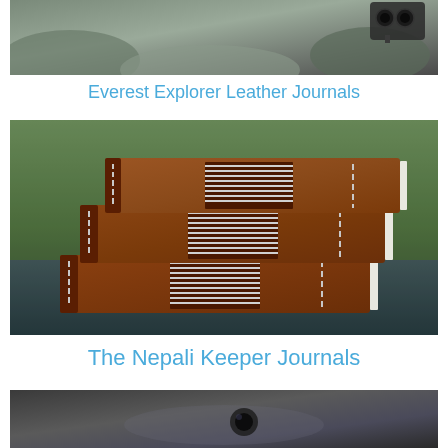[Figure (photo): Partial top photo showing rocks and outdoor setting with a camera/binoculars in upper right]
Everest Explorer Leather Journals
[Figure (photo): Three leather-bound journals stacked on a dark surface outdoors, showing exposed spine stitching with white thread pattern, brown leather covers, green foliage in background]
The Nepali Keeper Journals
[Figure (photo): Partially visible bottom photo showing a blurred outdoor scene with dark tones]